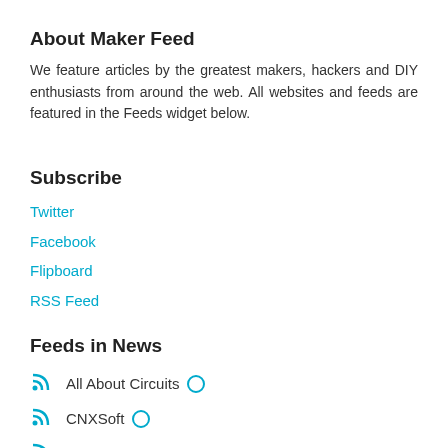About Maker Feed
We feature articles by the greatest makers, hackers and DIY enthusiasts from around the web. All websites and feeds are featured in the Feeds widget below.
Subscribe
Twitter
Facebook
Flipboard
RSS Feed
Feeds in News
All About Circuits
CNXSoft
Circuit Cellar
EETimes